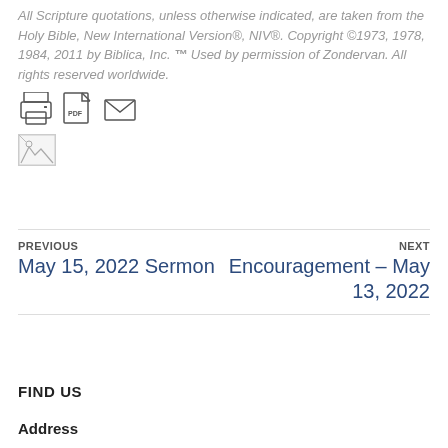All Scripture quotations, unless otherwise indicated, are taken from the Holy Bible, New International Version®, NIV®. Copyright ©1973, 1978, 1984, 2011 by Biblica, Inc. ™ Used by permission of Zondervan. All rights reserved worldwide.
[Figure (illustration): Row of three icons: printer icon, PDF icon, email/envelope icon]
[Figure (illustration): Broken image placeholder (small square with torn image icon)]
PREVIOUS
May 15, 2022 Sermon
NEXT
Encouragement – May 13, 2022
FIND US
Address